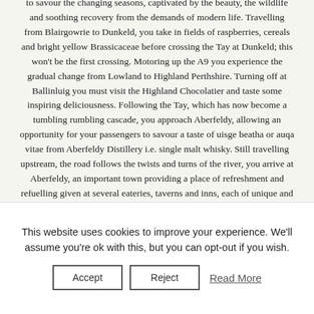to savour the changing seasons, captivated by the beauty, the wildlife and soothing recovery from the demands of modern life. Travelling from Blairgowrie to Dunkeld, you take in fields of raspberries, cereals and bright yellow Brassicaceae before crossing the Tay at Dunkeld; this won't be the first crossing. Motoring up the A9 you experience the gradual change from Lowland to Highland Perthshire. Turning off at Ballinluig you must visit the Highland Chocolatier and taste some inspiring deliciousness. Following the Tay, which has now become a tumbling rumbling cascade, you approach Aberfeldy, allowing an opportunity for your passengers to savour a taste of uisge beatha or auqa vitae from Aberfeldy Distillery i.e. single malt whisky. Still travelling upstream, the road follows the twists and turns of the river, you arrive at Aberfeldy, an important town providing a place of refreshment and refuelling given at several eateries, taverns and inns, each of unique and individual
This website uses cookies to improve your experience. We'll assume you're ok with this, but you can opt-out if you wish.